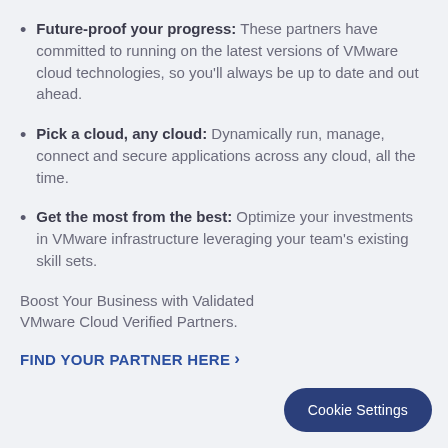Future-proof your progress: These partners have committed to running on the latest versions of VMware cloud technologies, so you'll always be up to date and out ahead.
Pick a cloud, any cloud: Dynamically run, manage, connect and secure applications across any cloud, all the time.
Get the most from the best: Optimize your investments in VMware infrastructure leveraging your team's existing skill sets.
Boost Your Business with Validated VMware Cloud Verified Partners.
FIND YOUR PARTNER HERE ›